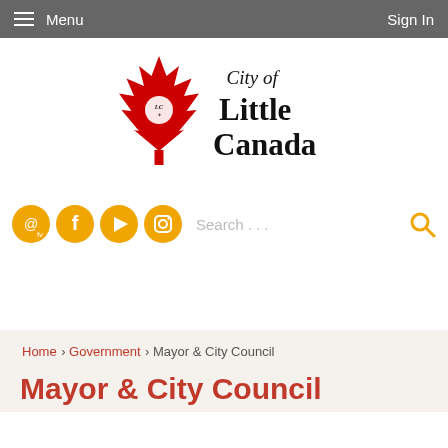Menu   Sign In
[Figure (logo): City of Little Canada logo with red maple leaf and fleur-de-lis emblem]
Social media icons (email/TV, Facebook, YouTube, Instagram), Search input, Search icon
Home › Government › Mayor & City Council
Mayor & City Council